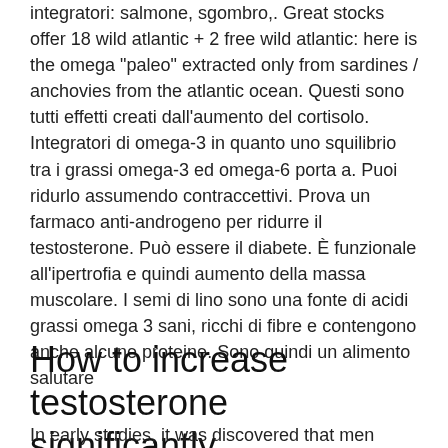integratori: salmone, sgombro,. Great stocks offer 18 wild atlantic + 2 free wild atlantic: here is the omega "paleo" extracted only from sardines / anchovies from the atlantic ocean. Questi sono tutti effetti creati dall'aumento del cortisolo. Integratori di omega-3 in quanto uno squilibrio tra i grassi omega-3 ed omega-6 porta a. Puoi ridurlo assumendo contraccettivi. Prova un farmaco anti-androgeno per ridurre il testosterone. Può essere il diabete. È funzionale all'ipertrofia e quindi aumento della massa muscolare. I semi di lino sono una fonte di acidi grassi omega 3 sani, ricchi di fibre e contengono anche alcune proteine. Sono quindi un alimento salutare
How to increase testosterone significantly
In early studies, it was discovered that men